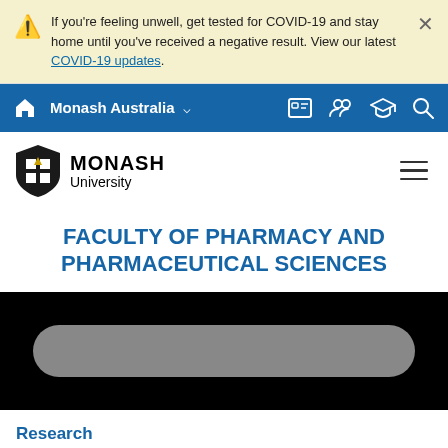If you're feeling unwell, get tested for COVID-19 and stay home until you've received a negative result. View our latest COVID-19 updates.
Monash Australia
[Figure (logo): Monash University logo with shield and text]
FACULTY OF PHARMACY AND PHARMACEUTICAL SCIENCES
[Figure (photo): Dark hero image area with a grey pill-shaped video scrubber element]
Research